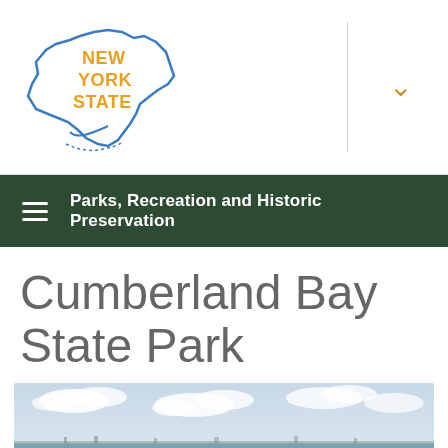New York State
Parks, Recreation and Historic Preservation
Cumberland Bay State Park
[Figure (photo): Beach scene at Cumberland Bay State Park showing sandy shoreline with people relaxing under a red umbrella, calm bay waters with a distant shoreline, and partly cloudy sky.]